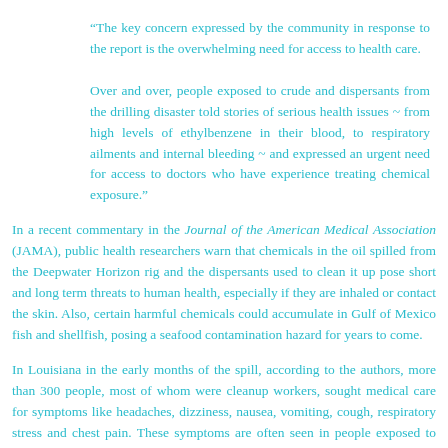“The key concern expressed by the community in response to the report is the overwhelming need for access to health care.

Over and over, people exposed to crude and dispersants from the drilling disaster told stories of serious health issues ~ from high levels of ethylbenzene in their blood, to respiratory ailments and internal bleeding ~ and expressed an urgent need for access to doctors who have experience treating chemical exposure.”
In a recent commentary in the Journal of the American Medical Association (JAMA), public health researchers warn that chemicals in the oil spilled from the Deepwater Horizon rig and the dispersants used to clean it up pose short and long term threats to human health, especially if they are inhaled or contact the skin. Also, certain harmful chemicals could accumulate in Gulf of Mexico fish and shellfish, posing a seafood contamination hazard for years to come.
In Louisiana in the early months of the spill, according to the authors, more than 300 people, most of whom were cleanup workers, sought medical care for symptoms like headaches, dizziness, nausea, vomiting, cough, respiratory stress and chest pain. These symptoms are often seen in people exposed to hydrogen sulfide gas or hydrocarbons, both products of the spilled oil, “but it is difficult